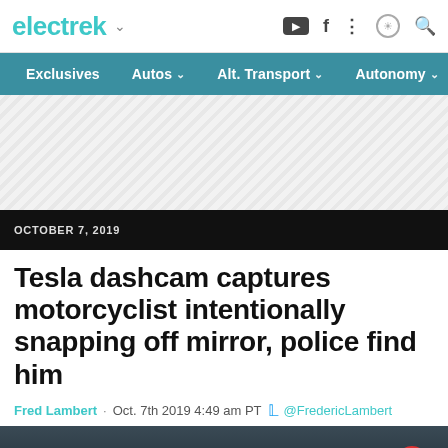electrek
Exclusives | Autos | Alt. Transport | Autonomy
[Figure (other): Advertisement placeholder with diagonal stripe pattern]
OCTOBER 7, 2019
Tesla dashcam captures motorcyclist intentionally snapping off mirror, police find him
Fred Lambert · Oct. 7th 2019 4:49 am PT @FredericLambert
[Figure (photo): Dark image showing a motorcyclist, with a red circle highlight in the bottom right corner]